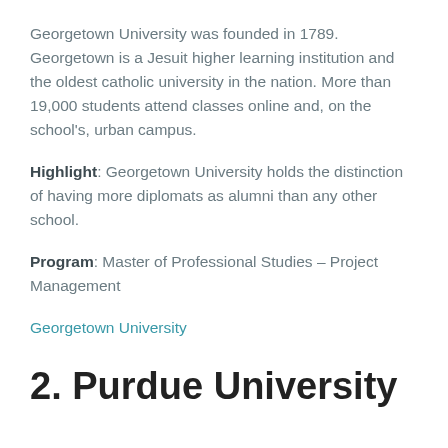Georgetown University was founded in 1789. Georgetown is a Jesuit higher learning institution and the oldest catholic university in the nation. More than 19,000 students attend classes online and, on the school's, urban campus.
Highlight: Georgetown University holds the distinction of having more diplomats as alumni than any other school.
Program: Master of Professional Studies – Project Management
Georgetown University
2. Purdue University